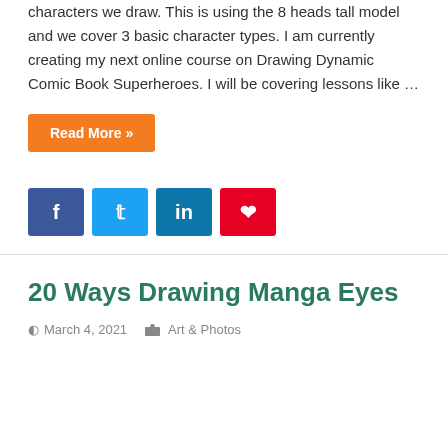characters we draw. This is using the 8 heads tall model and we cover 3 basic character types. I am currently creating my next online course on Drawing Dynamic Comic Book Superheroes. I will be covering lessons like …
Read More »
[Figure (other): Social share buttons: Facebook (blue), Twitter (light blue), LinkedIn (dark blue), Pinterest (red)]
20 Ways Drawing Manga Eyes
March 4, 2021   Art & Photos